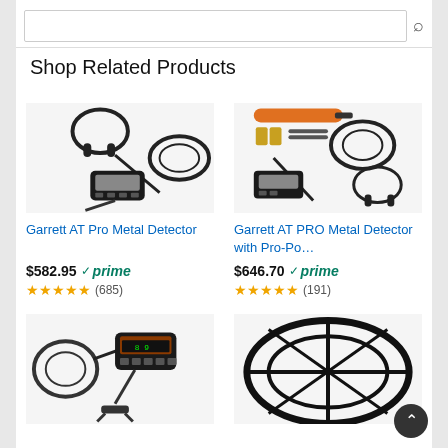Shop Related Products
[Figure (photo): Garrett AT Pro Metal Detector product image with headphones and coil]
Garrett AT Pro Metal Detector
$582.95 prime
(685) stars rating
[Figure (photo): Garrett AT PRO Metal Detector with Pro-Po... product image with accessories]
Garrett AT PRO Metal Detector with Pro-Po…
$646.70 prime
(191) stars rating
[Figure (photo): Metal detector product image bottom left]
[Figure (photo): Metal detector coil/disc product image bottom right]